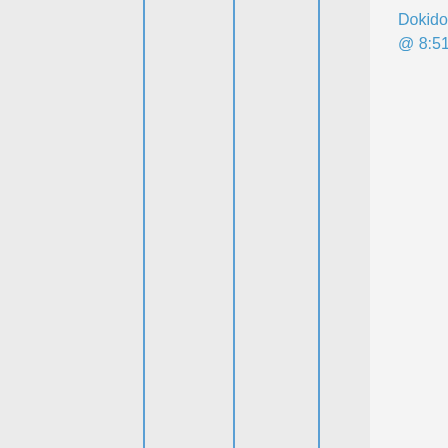Dokidokibaka  🗓 October 3, 2014 @ 8:51 PM
A bit. ^_^ I have also been expecting a few things in the mail that haven't arrived. I was supposed to get my renewed permit to drive, but it still hasn't come. ;-;